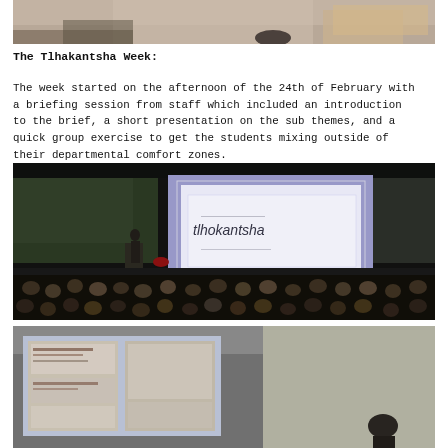[Figure (photo): Top partial photo showing what appears to be a table or desk area in a room, cropped view]
The Tlhakantsha Week:
The week started on the afternoon of the 24th of February with a briefing session from staff which included an introduction to the brief, a short presentation on the sub themes, and a quick group exercise to get the students mixing outside of their departmental comfort zones.
[Figure (photo): Large lecture theatre with audience of students seated, presenter at podium at front, large projection screen displaying 'tlhakantsha' text and logo in purple/lavender tones]
[Figure (photo): View of projection screen showing slides with content panels, a person visible at bottom of frame, ceiling with lights visible, room with curved walls]